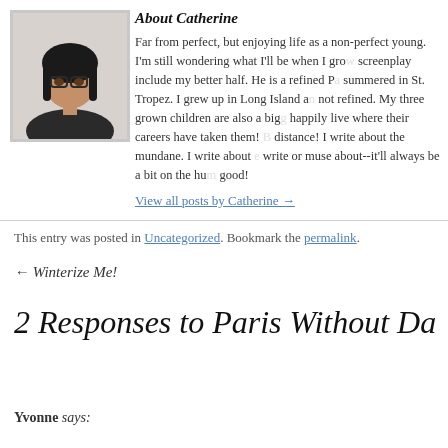[Figure (photo): Profile photo of Catherine: a woman with dark hair and glasses, shown from shoulders up, indoors.]
About Catherine
Far from perfect, but enjoying life as a non-perfect young. I'm still wondering what I'll be when I grow up. screenplay include my better half. He is a refined P summered in St. Tropez. I grew up in Long Island a not refined. My three grown children are also a big happily live where their careers have taken them! distance! I write about the mundane. I write about write or muse about--it'll always be a bit on the hu good!
View all posts by Catherine →
This entry was posted in Uncategorized. Bookmark the permalink.
← Winterize Me!
2 Responses to Paris Without Da
Yvonne says: